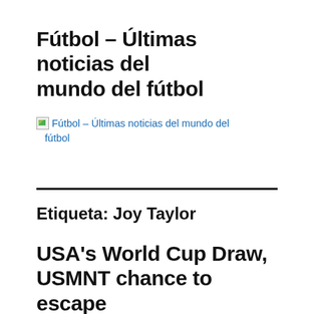Fútbol – Últimas noticias del mundo del fútbol
[Figure (other): Broken image placeholder with alt text: Fútbol – Últimas noticias del mundo del fútbol, shown as a broken image icon followed by blue hyperlink text]
Etiqueta: Joy Taylor
USA's World Cup Draw, USMNT chance to escape